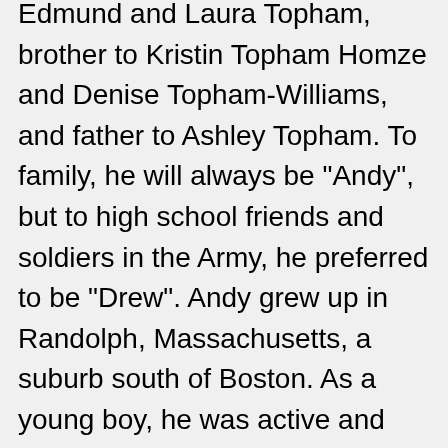Edmund and Laura Topham, brother to Kristin Topham Homze and Denise Topham-Williams, and father to Ashley Topham. To family, he will always be "Andy", but to high school friends and soldiers in the Army, he preferred to be "Drew". Andy grew up in Randolph, Massachusetts, a suburb south of Boston. As a young boy, he was active and enjoyed being involved with the Boy Scouts, karate, youth soccer and little league baseball.
The Tophams are a close knit family and many memories were made around the kitchen table and on vacation. Growing up, Andy spent